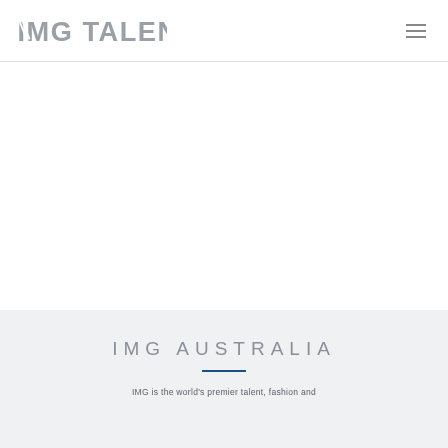IMG TALENT
IMG AUSTRALIA
IMG is the world's premier talent, fashion and